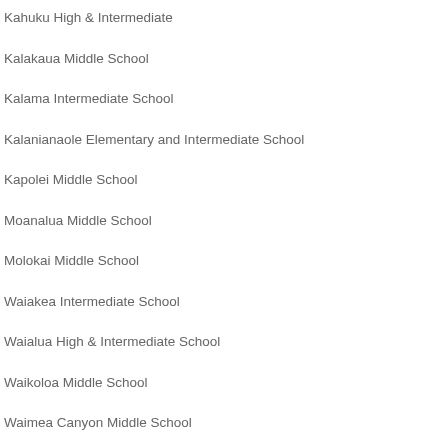Kahuku High & Intermediate
Kalakaua Middle School
Kalama Intermediate School
Kalanianaole Elementary and Intermediate School
Kapolei Middle School
Moanalua Middle School
Molokai Middle School
Waiakea Intermediate School
Waialua High & Intermediate School
Waikoloa Middle School
Waimea Canyon Middle School